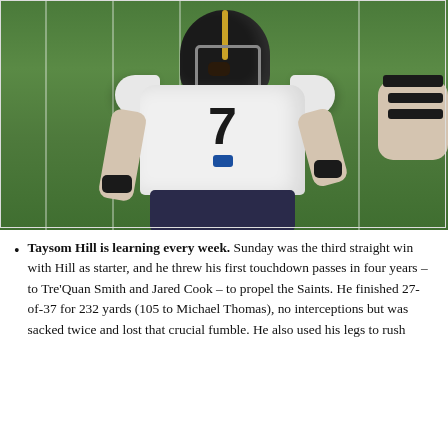[Figure (photo): NFL football player wearing New Orleans Saints jersey number 7 (Taysom Hill) in white uniform with black helmet, celebrating on the field with mouth open, another player partially visible on the right side]
Taysom Hill is learning every week. Sunday was the third straight win with Hill as starter, and he threw his first touchdown passes in four years – to Tre'Quan Smith and Jared Cook – to propel the Saints. He finished 27-of-37 for 232 yards (105 to Michael Thomas), no interceptions but was sacked twice and lost that crucial fumble. He also used his legs to rush for 8 yards, including a touchdown on the opening drive.